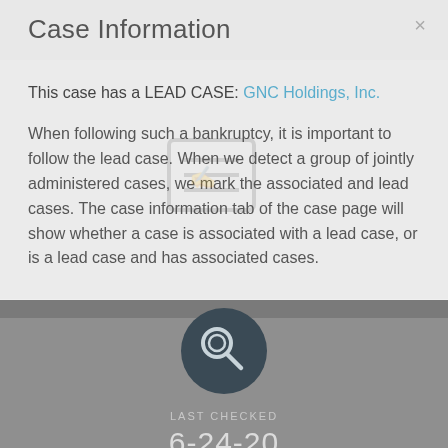Case Information
This case has a LEAD CASE: GNC Holdings, Inc.
When following such a bankruptcy, it is important to follow the lead case. When we detect a group of jointly administered cases, we mark the associated and lead cases. The case information tab of the case page will show whether a case is associated with a lead case, or is a lead case and has associated cases.
[Figure (illustration): Dark circular icon with a magnifying glass symbol]
LAST CHECKED
6-24-20